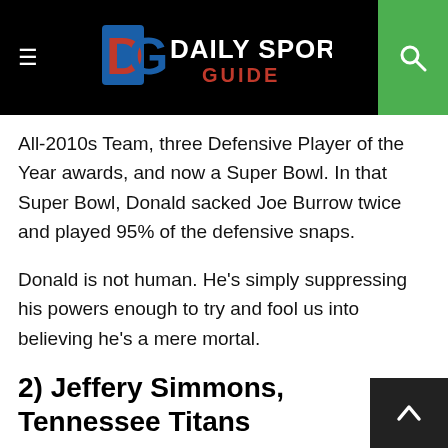Daily Sports Guide
All-2010s Team, three Defensive Player of the Year awards, and now a Super Bowl. In that Super Bowl, Donald sacked Joe Burrow twice and played 95% of the defensive snaps.
Donald is not human. He's simply suppressing his powers enough to try and fool us into believing he's a mere mortal.
2) Jeffery Simmons, Tennessee Titans
While the jury is out now, the belief that Jeffery Simmons is the second-best defensive tackle in the NFL will be universal by the end of 2022. The only things that could change that inevitability are injury or Donald's retirement,